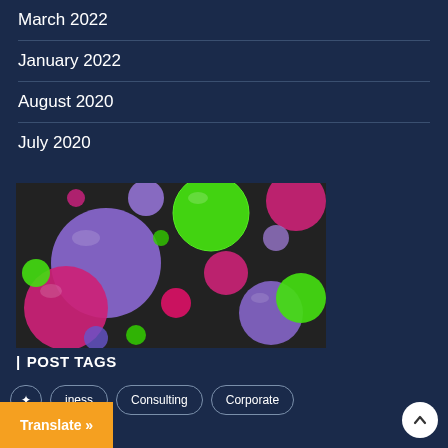March 2022
January 2022
August 2020
July 2020
[Figure (illustration): 3D rendered colorful spheres (purple, pink/magenta, green) on a dark background]
| POST TAGS
usiness
Consulting
Corporate